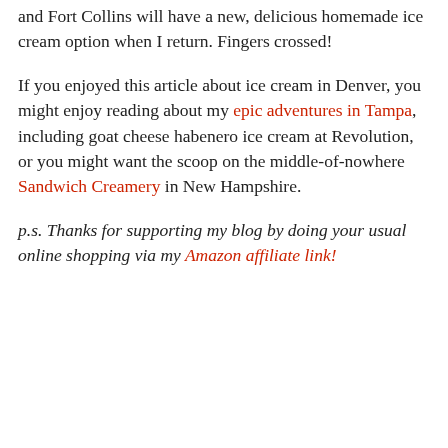and Fort Collins will have a new, delicious homemade ice cream option when I return. Fingers crossed!
If you enjoyed this article about ice cream in Denver, you might enjoy reading about my epic adventures in Tampa, including goat cheese habenero ice cream at Revolution, or you might want the scoop on the middle-of-nowhere Sandwich Creamery in New Hampshire.
p.s. Thanks for supporting my blog by doing your usual online shopping via my Amazon affiliate link!